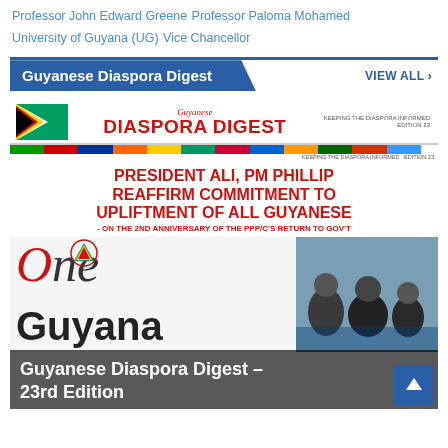Professor John Edward Greene  Professor Paloma Mohamed  University of Guyana (UG)  Vice Chancellor
Guyanese Diaspora Digest
[Figure (screenshot): Front page of Guyanese Diaspora Digest 23rd Edition newspaper, showing the Guyana flag, masthead with red DIASPORA DIGEST title, colored flag strip, headline 'PRESIDENT ALI, PM PHILLIP REAFFIRM COMMITMENT TO UPLIFTMENT OF ALL GUYANESE - ON THE 2ND ANNIVERSARY OF THE PPP/C'S RETURN TO GOV'T', One Guyana text, and group photo at bottom.]
Guyanese Diaspora Digest – 23rd Edition